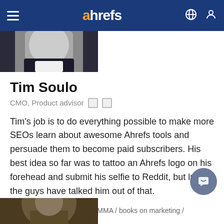ahrefs
[Figure (photo): Cropped profile photo of Tim Soulo in a dark suit at the top]
Tim Soulo
CMO, Product advisor
Tim's job is to do everything possible to make more SEOs learn about awesome Ahrefs tools and persuade them to become paid subscribers. His best idea so far was to tattoo an Ahrefs logo on his forehead and submit his selfie to Reddit, but luckily the guys have talked him out of that.
wakeboarding / kitesurfing / MMA / books on marketing /
[Figure (photo): Partial profile photo visible at the bottom of the page]